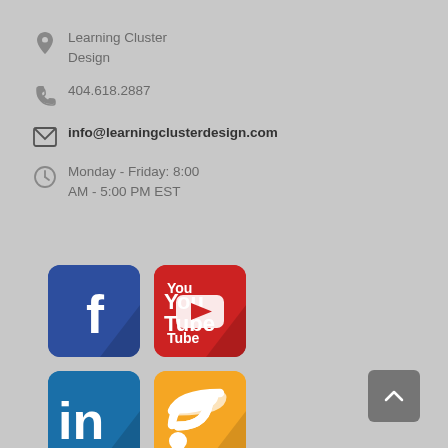Learning Cluster Design
404.618.2887
info@learningclusterdesign.com
Monday - Friday: 8:00 AM - 5:00 PM EST
[Figure (infographic): Four social media icons in a 2x2 grid: Facebook (blue), YouTube (red), LinkedIn (blue), RSS feed (orange)]